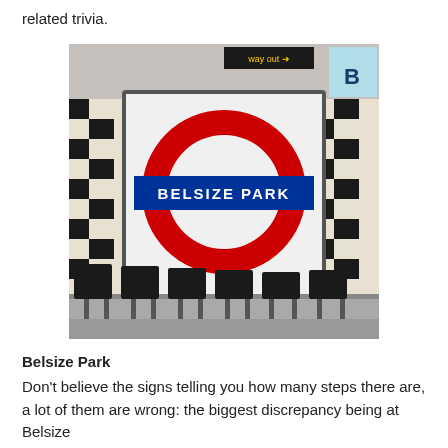related trivia.
[Figure (photo): London Underground roundel sign for Belsize Park station. The sign shows the iconic red circle and blue horizontal bar with white text reading 'BELSIZE PARK'. The sign is mounted on a wall with black and cream checkered tiles, and station seating is visible in the foreground.]
Belsize Park
Don't believe the signs telling you how many steps there are, a lot of them are wrong: the biggest discrepancy being at Belsize